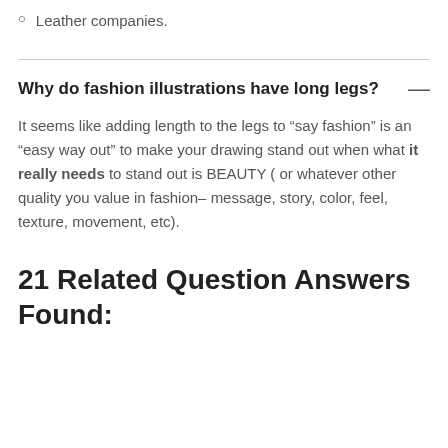Leather companies.
Why do fashion illustrations have long legs?
It seems like adding length to the legs to “say fashion” is an “easy way out” to make your drawing stand out when what it really needs to stand out is BEAUTY ( or whatever other quality you value in fashion– message, story, color, feel, texture, movement, etc).
21 Related Question Answers Found: